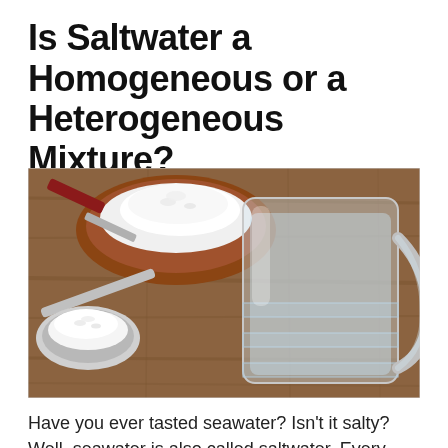Is Saltwater a Homogeneous or a Heterogeneous Mixture?
[Figure (photo): A photo showing a glass of water next to a wooden bowl filled with white salt and a silver spoon with salt on it, all placed on a wooden surface.]
Have you ever tasted seawater? Isn't it salty? Well, seawater is also called saltwater. Every